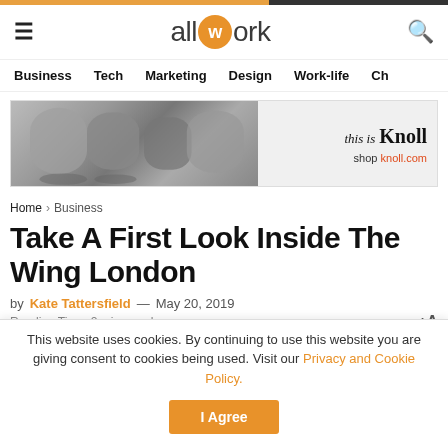allwork
Business   Tech   Marketing   Design   Work-life   Ch
[Figure (illustration): Advertisement banner for Knoll furniture showing chairs, with text 'this is Knoll' and 'shop knoll.com']
Home > Business
Take A First Look Inside The Wing London
by Kate Tattersfield — May 20, 2019
Reading Time: 2 mins read
This website uses cookies. By continuing to use this website you are giving consent to cookies being used. Visit our Privacy and Cookie Policy.